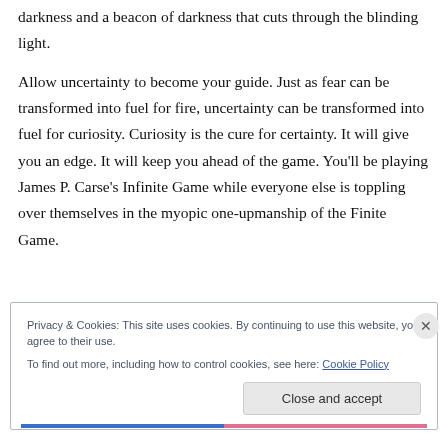darkness and a beacon of darkness that cuts through the blinding light.
Allow uncertainty to become your guide. Just as fear can be transformed into fuel for fire, uncertainty can be transformed into fuel for curiosity. Curiosity is the cure for certainty. It will give you an edge. It will keep you ahead of the game. You'll be playing James P. Carse's Infinite Game while everyone else is toppling over themselves in the myopic one-upmanship of the Finite Game.
Privacy & Cookies: This site uses cookies. By continuing to use this website, you agree to their use. To find out more, including how to control cookies, see here: Cookie Policy
Close and accept